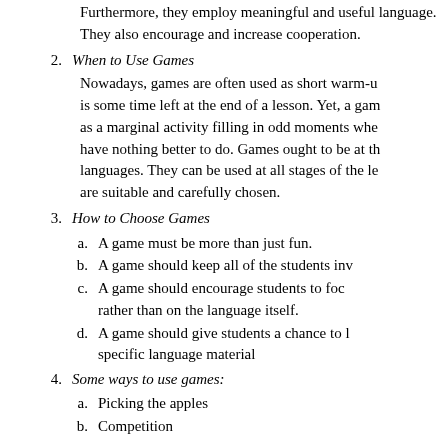Furthermore, they employ meaningful and useful language. They also encourage and increase cooperation.
2. When to Use Games
Nowadays, games are often used as short warm-up activities or when there is some time left at the end of a lesson. Yet, a game should not be used as a marginal activity filling in odd moments when the teacher and students have nothing better to do. Games ought to be at the heart of teaching languages. They can be used at all stages of the lesson, as long as they are suitable and carefully chosen.
3. How to Choose Games
a. A game must be more than just fun.
b. A game should keep all of the students involved.
c. A game should encourage students to focus on the use of language rather than on the language itself.
d. A game should give students a chance to learn, practice, or review specific language material
4. Some ways to use games:
a. Picking the apples
b. Competition